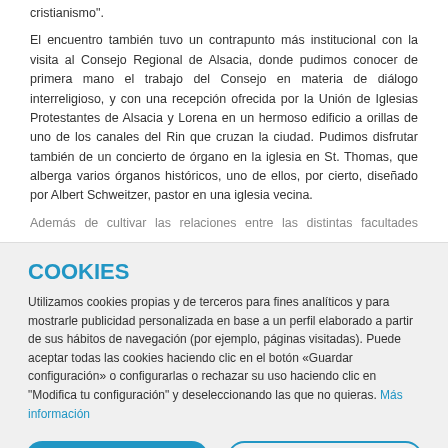cristianismo".
El encuentro también tuvo un contrapunto más institucional con la visita al Consejo Regional de Alsacia, donde pudimos conocer de primera mano el trabajo del Consejo en materia de diálogo interreligioso, y con una recepción ofrecida por la Unión de Iglesias Protestantes de Alsacia y Lorena en un hermoso edificio a orillas de uno de los canales del Rin que cruzan la ciudad. Pudimos disfrutar también de un concierto de órgano en la iglesia en St. Thomas, que alberga varios órganos históricos, uno de ellos, por cierto, diseñado por Albert Schweitzer, pastor en una iglesia vecina.
Además de cultivar las relaciones entre las distintas facultades protestantes
COOKIES
Utilizamos cookies propias y de terceros para fines analíticos y para mostrarle publicidad personalizada en base a un perfil elaborado a partir de sus hábitos de navegación (por ejemplo, páginas visitadas). Puede aceptar todas las cookies haciendo clic en el botón «Guardar configuración» o configurarlas o rechazar su uso haciendo clic en "Modifica tu configuración" y deseleccionando las que no quieras. Más información